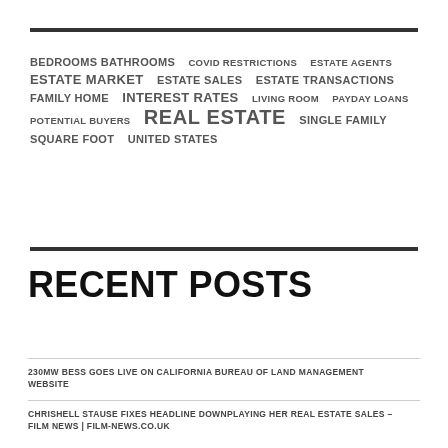[Figure (infographic): Word cloud / tag cloud with real estate related terms in varying font sizes. Terms include: BEDROOMS BATHROOMS, COVID RESTRICTIONS, ESTATE AGENTS, ESTATE MARKET, ESTATE SALES, ESTATE TRANSACTIONS, FAMILY HOME, INTEREST RATES, LIVING ROOM, PAYDAY LOANS, POTENTIAL BUYERS, REAL ESTATE (largest), SINGLE FAMILY, SQUARE FOOT, UNITED STATES]
RECENT POSTS
230MW BESS GOES LIVE ON CALIFORNIA BUREAU OF LAND MANAGEMENT WEBSITE
CHRISHELL STAUSE FIXES HEADLINE DOWNPLAYING HER REAL ESTATE SALES – FILM NEWS | FILM-NEWS.CO.UK